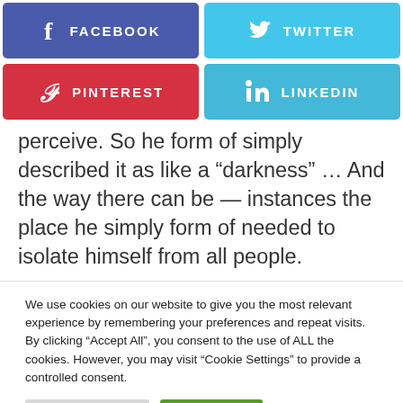[Figure (infographic): Social media share buttons: Facebook (purple-blue), Twitter (light blue), Pinterest (red), LinkedIn (light blue)]
perceive. So he form of simply described it as like a “darkness” … And the way there can be — instances the place he simply form of needed to isolate himself from all people.
We use cookies on our website to give you the most relevant experience by remembering your preferences and repeat visits. By clicking “Accept All”, you consent to the use of ALL the cookies. However, you may visit “Cookie Settings” to provide a controlled consent.